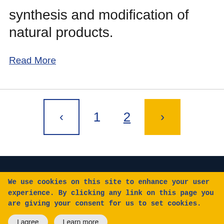synthesis and modification of natural products.
Read More
< 1 2 >
We use cookies on this site to enhance your user experience. By clicking any link on this page you are giving your consent for us to set cookies.
I agree   Learn more